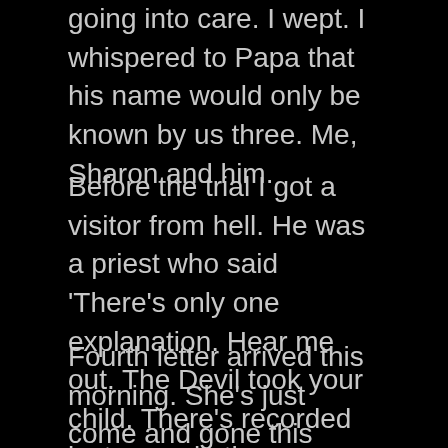going into care. I wept. I whispered to Papa that his name would only be known by us three. Me, Sharon and him.
Before the trial I got a visitor from hell. He was a priest who said 'There's only one explanation. Hear me out. The Devil took your child. There's recorded instances in the sixteenth and seventeenth centuries of such events.' 'Bugger the history lesson I want out.' I said. He said 'Be more careful what you say in future.' Like he was my effing father. I never saw him again, but it seems the only sense, after an these years.
Fourth letter arrived this morning. She's just come and gone this afternoon. Letter said she would and she had some news. She said 'Hi, Papa. I'm Sharon.' Has my Exes. deep brown eyes, my mothers gaunt looks. Dresses elegant. She also said ' I was brought up by Daddy and all